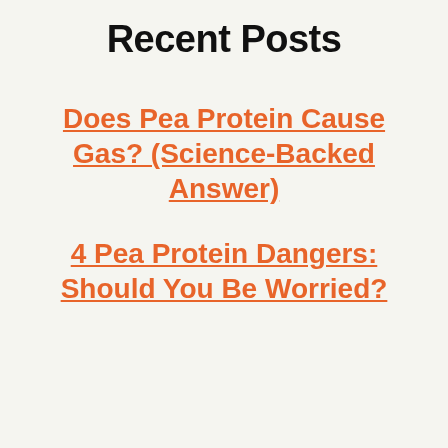Recent Posts
Does Pea Protein Cause Gas? (Science-Backed Answer)
4 Pea Protein Dangers: Should You Be Worried?